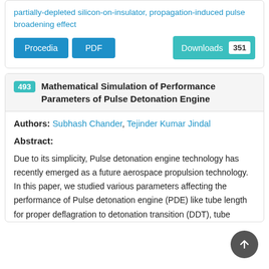partially-depleted silicon-on-insulator, propagation-induced pulse broadening effect
Procedia | PDF | Downloads 351
493 Mathematical Simulation of Performance Parameters of Pulse Detonation Engine
Authors: Subhash Chander, Tejinder Kumar Jindal
Abstract:
Due to its simplicity, Pulse detonation engine technology has recently emerged as a future aerospace propulsion technology. In this paper, we studied various parameters affecting the performance of Pulse detonation engine (PDE) like tube length for proper deflagration to detonation transition (DDT), tube